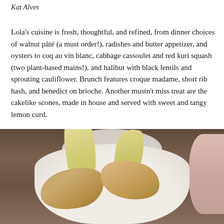Kat Alves
Lola’s cuisine is fresh, thoughtful, and refined, from dinner choices of walnut pâté (a must order!), radishes and butter appetizer, and oysters to coq au vin blanc, cabbage cassoulet and red kuri squash (two plant-based mains!), and halibut with black lentils and sprouting cauliflower. Brunch features croque madame, short rib hash, and benedict on brioche. Another mustn’t miss treat are the cakelike scones, made in house and served with sweet and tangy lemon curd.
[Figure (photo): A white oval dish filled with toasted bread slices and yellow-green chicory leaves, placed on a wooden table. A white plate is partially visible in the upper left, and a pink plate is partially visible on the right.]